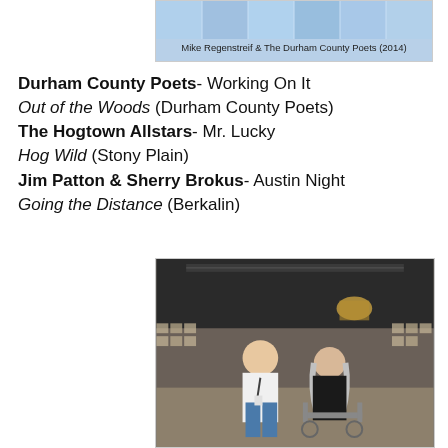[Figure (photo): Partial photo of Mike Regenstreif & The Durham County Poets (2014), showing a teal/blue banner or backdrop with grid pattern]
Mike Regenstreif & The Durham County Poets (2014)
Durham County Poets- Working On It
Out of the Woods (Durham County Poets)
The Hogtown Allstars- Mr. Lucky
Hog Wild (Stony Plain)
Jim Patton & Sherry Brokus- Austin Night
Going the Distance (Berkalin)
[Figure (photo): Photo of two people seated in a venue with rows of chairs and a stage in the background. A balding man in a white shirt with a lanyard sits next to an older woman with long white-grey hair wearing a dark jacket, seated in a wheelchair.]